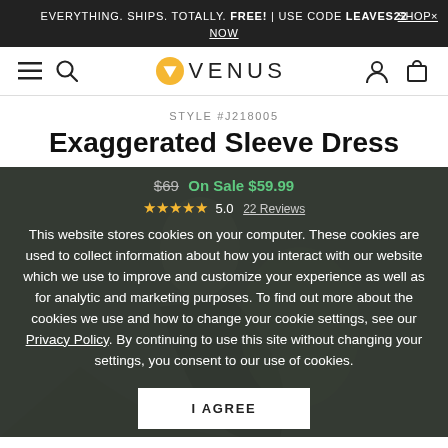EVERYTHING. SHIPS. TOTALLY. FREE! | USE CODE LEAVES22 SHOP× NOW
[Figure (logo): Venus fashion brand logo with hamburger menu, search icon, Venus logo with yellow V emblem, user icon and cart icon]
STYLE #J218005
Exaggerated Sleeve Dress
$69 On Sale $59.99
★★★★★ 5.0  22 Reviews
This website stores cookies on your computer. These cookies are used to collect information about how you interact with our website which we use to improve and customize your experience as well as for analytic and marketing purposes. To find out more about the cookies we use and how to change your cookie settings, see our Privacy Policy. By continuing to use this site without changing your settings, you consent to our use of cookies.
I AGREE